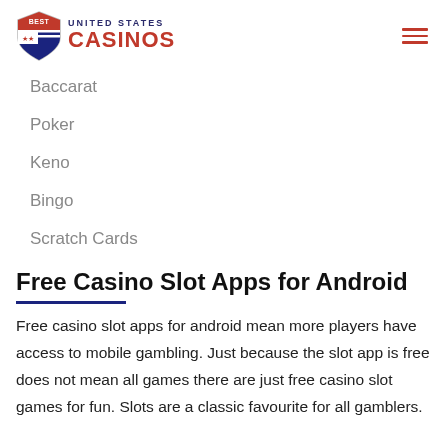BEST UNITED STATES CASINOS
Baccarat
Poker
Keno
Bingo
Scratch Cards
Free Casino Slot Apps for Android
Free casino slot apps for android mean more players have access to mobile gambling. Just because the slot app is free does not mean all games there are just free casino slot games for fun. Slots are a classic favourite for all gamblers.